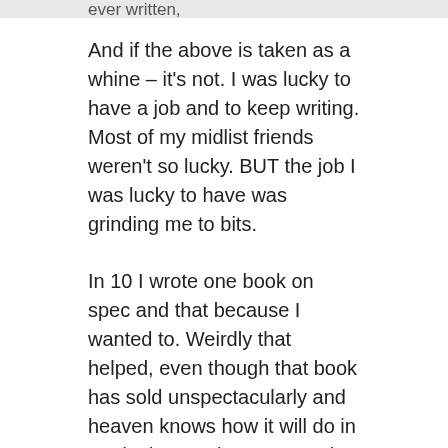ever written,
And if the above is taken as a whine – it's not. I was lucky to have a job and to keep writing. Most of my midlist friends weren't so lucky. BUT the job I was lucky to have was grinding me to bits.
In 10 I wrote one book on spec and that because I wanted to. Weirdly that helped, even though that book has sold unspectacularly and heaven knows how it will do in marketing. And now I'm under contract again, and under contract for a lot of books. But it feels different.
First because I can take breaks between those to write indie short stories (and soon a novel) to put up. This means I can do something where I do